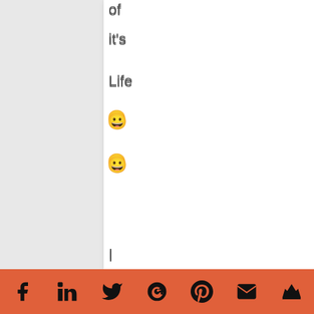of
it's
Life
😀
😀
I
gre
up
try
to
ble
in
wit
my
sur
[Figure (infographic): Orange social media bar with icons: Facebook, LinkedIn, Twitter, Google+, Pinterest, Email, Crown/Feather]